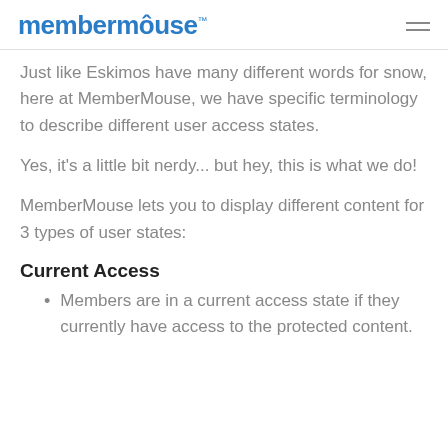MemberMouse
Just like Eskimos have many different words for snow, here at MemberMouse, we have specific terminology to describe different user access states.
Yes, it's a little bit nerdy... but hey, this is what we do!
MemberMouse lets you to display different content for 3 types of user states:
Current Access
Members are in a current access state if they currently have access to the protected content.